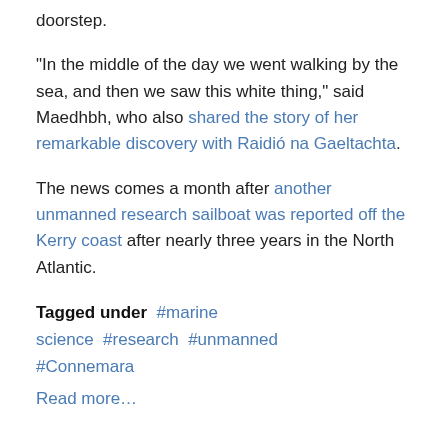doorstep.
“In the middle of the day we went walking by the sea, and then we saw this white thing,” said Maedhbh, who also shared the story of her remarkable discovery with Raidíó na Gaeltachta.
The news comes a month after another unmanned research sailboat was reported off the Kerry coast after nearly three years in the North Atlantic.
Tagged under  #marine science  #research  #unmanned  #Connemara
Read more…
20th September 2016
Registration Open For Stakeholder Meeting On Marine Biotech Roadmap